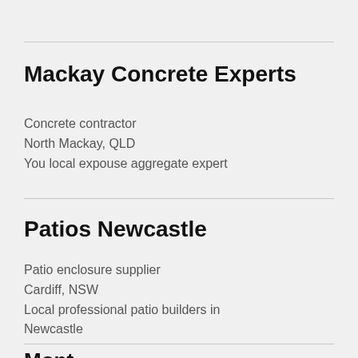Mackay Concrete Experts
Concrete contractor
North Mackay, QLD
You local expouse aggregate expert
Patios Newcastle
Patio enclosure supplier
Cardiff, NSW
Local professional patio builders in Newcastle
Mont...